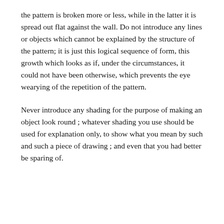the pattern is broken more or less, while in the latter it is spread out flat against the wall. Do not introduce any lines or objects which cannot be explained by the structure of the pattern; it is just this logical sequence of form, this growth which looks as if, under the circumstances, it could not have been otherwise, which prevents the eye wearying of the repetition of the pattern.
Never introduce any shading for the purpose of making an object look round ; whatever shading you use should be used for explanation only, to show what you mean by such and such a piece of drawing ; and even that you had better be sparing of.